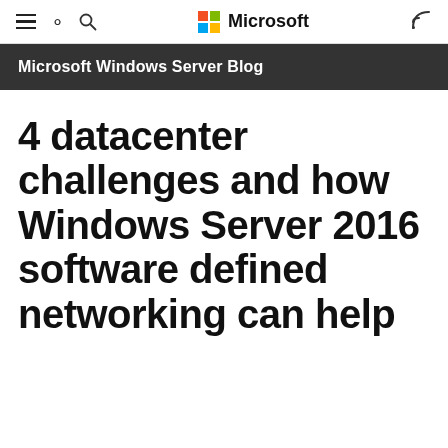Microsoft
Microsoft Windows Server Blog
4 datacenter challenges and how Windows Server 2016 software defined networking can help